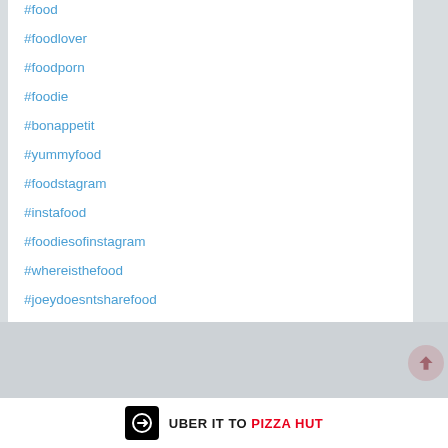#food
#foodlover
#foodporn
#foodie
#bonappetit
#yummyfood
#foodstagram
#instafood
#foodiesofinstagram
#whereisthefood
#joeydoesntsharefood
Posted On: 02 Jul 2019 5:36 PM
[Figure (other): Social share icons: Facebook, Twitter, WhatsApp]
[Figure (logo): Uber Eats logo with text: UBER IT TO PIZZA HUT]